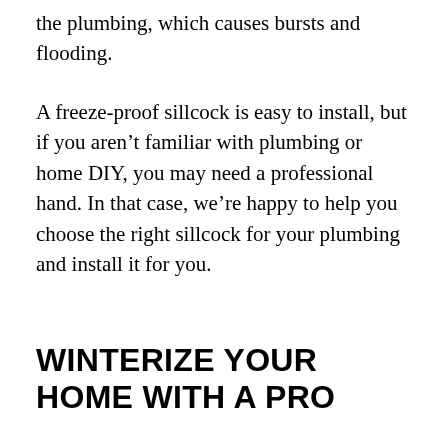the plumbing, which causes bursts and flooding.
A freeze-proof sillcock is easy to install, but if you aren't familiar with plumbing or home DIY, you may need a professional hand. In that case, we're happy to help you choose the right sillcock for your plumbing and install it for you.
WINTERIZE YOUR HOME WITH A PRO
We can help you winterize your entire home's plumbing system through high-quality insulation and pipe-draining. We can also give you more